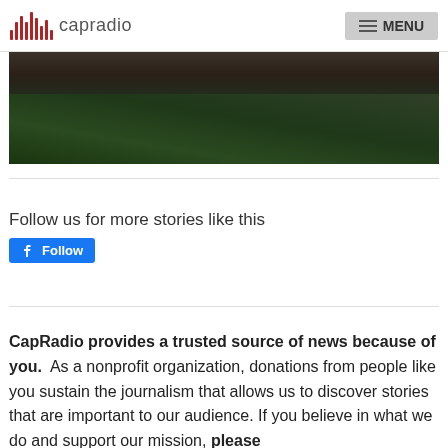capradio   MENU
[Figure (photo): Partial view of green conifer foliage against dark ground/soil background]
Follow us for more stories like this
Follow
CapRadio provides a trusted source of news because of you.  As a nonprofit organization, donations from people like you sustain the journalism that allows us to discover stories that are important to our audience. If you believe in what we do and support our mission, please donate today.